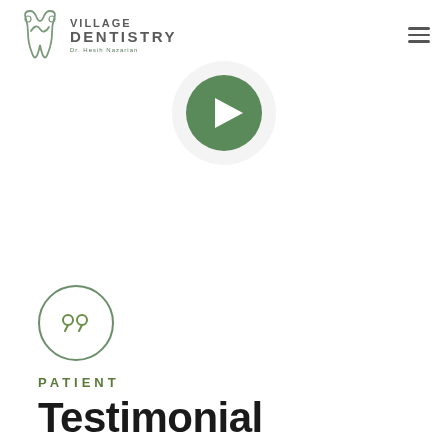[Figure (logo): Village Dentistry logo with tooth icon and text 'VILLAGE DENTISTRY Dr. Hesih Nazarian']
[Figure (illustration): Green circular play button icon for a video testimonial]
[Figure (illustration): Circle with quotation mark icon for testimonial section]
PATIENT
Testimonial